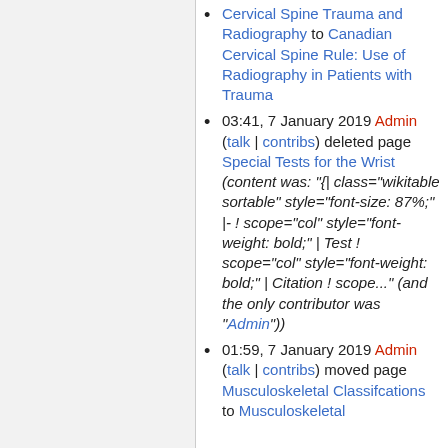Cervical Spine Trauma and Radiography to Canadian Cervical Spine Rule: Use of Radiography in Patients with Trauma
03:41, 7 January 2019 Admin (talk | contribs) deleted page Special Tests for the Wrist (content was: "{| class="wikitable sortable" style="font-size: 87%;" |- ! scope="col" style="font-weight: bold;" | Test ! scope="col" style="font-weight: bold;" | Citation ! scope..." (and the only contributor was "Admin"))
01:59, 7 January 2019 Admin (talk | contribs) moved page Musculoskeletal Classifcations to Musculoskeletal